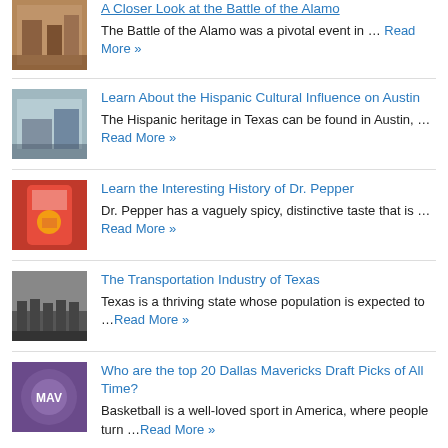A Closer Look at the Battle of the Alamo — The Battle of the Alamo was a pivotal event in … Read More »
Learn About the Hispanic Cultural Influence on Austin — The Hispanic heritage in Texas can be found in Austin, …Read More »
Learn the Interesting History of Dr. Pepper — Dr. Pepper has a vaguely spicy, distinctive taste that is …Read More »
The Transportation Industry of Texas — Texas is a thriving state whose population is expected to …Read More »
Who are the top 20 Dallas Mavericks Draft Picks of All Time? — Basketball is a well-loved sport in America, where people turn …Read More »
About the Hispanic Cultural Influence on San Antonio — Formerly part of Spain and then Mexico, Texas has